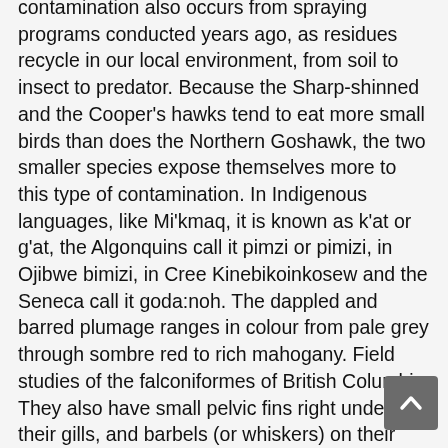contamination also occurs from spraying programs conducted years ago, as residues recycle in our local environment, from soil to insect to predator. Because the Sharp-shinned and the Cooper's hawks tend to eat more small birds than does the Northern Goshawk, the two smaller species expose themselves more to this type of contamination. In Indigenous languages, like Mi'kmaq, it is known as k'at or g'at, the Algonquins call it pimzi or pimizi, in Ojibwe bimizi, in Cree Kinebikoinkosew and the Seneca call it goda:noh. The dappled and barred plumage ranges in colour from pale grey through sombre red to rich mahogany. Field studies of the falconiformes of British Columbia. They also have small pelvic fins right under their gills, and barbels (or whiskers) on their chins. Researchers believe that a decline in the number of hawks and other bird-eating raptors in North America began and still persists in the agricultural areas of the middle latitudes. Also like many reptile species, turtles lay eggs (they are oviparous). Vancouver Island is in the northeastern Pacific Ocean, and part of the Canadian province of British Columbia.The island is 456 km (283 mi) in length, 100 km (62 mi) in width